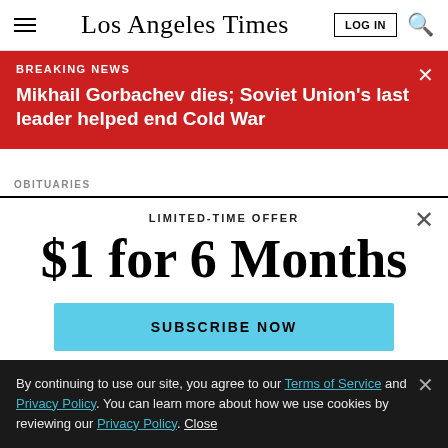Los Angeles Times
BREAKING NEWS
Mikhail Gorbachev dies; Soviet Union's last leader helped end Cold War
OBITUARIES
LIMITED-TIME OFFER
$1 for 6 Months
SUBSCRIBE NOW
By continuing to use our site, you agree to our Terms of Service and Privacy Policy. You can learn more about how we use cookies by reviewing our Privacy Policy. Close